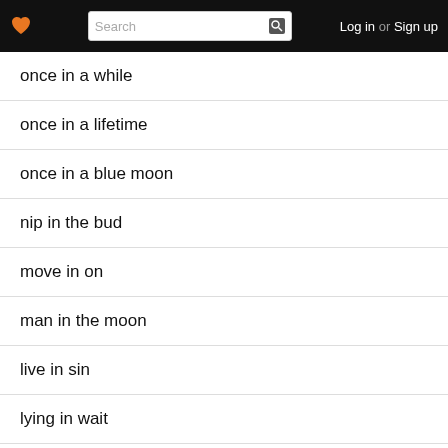Log in or Sign up
once in a while
once in a lifetime
once in a blue moon
nip in the bud
move in on
man in the moon
live in sin
lying in wait
hole in the wall